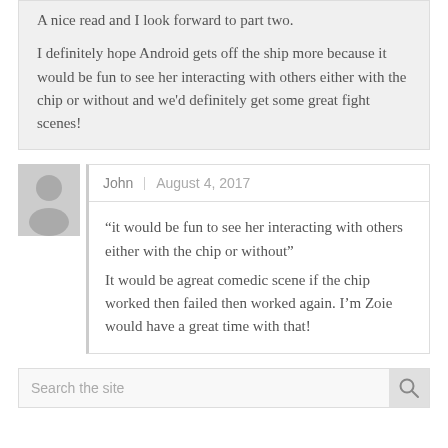A nice read and I look forward to part two.

I definitely hope Android gets off the ship more because it would be fun to see her interacting with others either with the chip or without and we'd definitely get some great fight scenes!
John | August 4, 2017
“it would be fun to see her interacting with others either with the chip or without” It would be agreat comedic scene if the chip worked then failed then worked again. I’m Zoie would have a great time with that!
Search the site